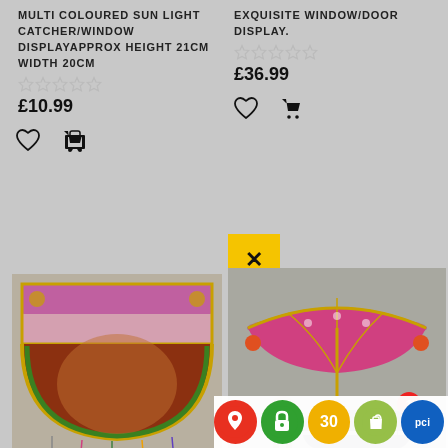MULTI COLOURED SUN LIGHT CATCHER/WINDOW DISPLAYAPPROX HEIGHT 21CM WIDTH 20CM
☆☆☆☆☆
£10.99
EXQUISITE WINDOW/DOOR DISPLAY.
☆☆☆☆☆
£36.99
[Figure (photo): Toran window display - colourful decorative arch with tassels]
[Figure (photo): Carousel/mobile with pink umbrella and elephants]
GORGOUS MAYA RADLISHNA TORAN WINDOW DISPLAY
[Figure (screenshot): Bottom toolbar with map, lock, 30, Shopify, and PCI icons, with notification badge showing 1]